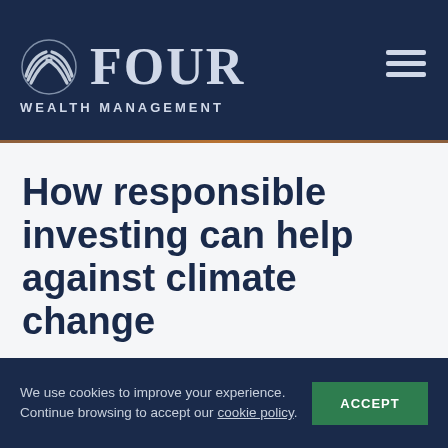FOUR WEALTH MANAGEMENT
How responsible investing can help against climate change
We use cookies to improve your experience. Continue browsing to accept our cookie policy.